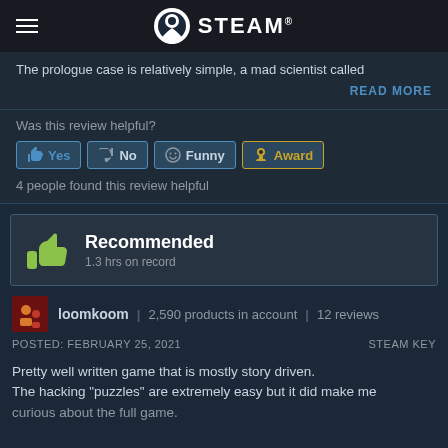STEAM
The prologue case is relatively simple, a mad scientist called
READ MORE
Was this review helpful?
Yes  No  Funny  Award
4 people found this review helpful
Recommended
1.3 hrs on record
loomkoom | 2,590 products in account | 12 reviews
POSTED: FEBRUARY 25, 2021   STEAM KEY
Pretty well written game that is mostly story driven.
The hacking "puzzles" are extremely easy but it did make me curious about the full game.